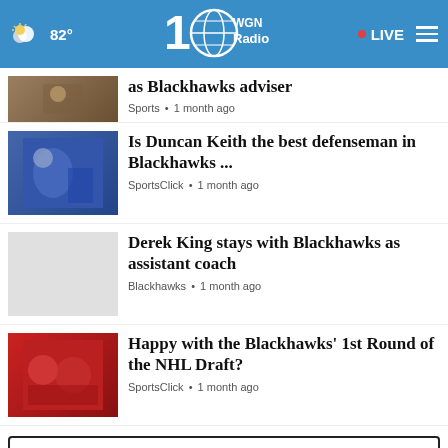82° WGN Radio • LIVE
as Blackhawks adviser
Sports • 1 month ago
Is Duncan Keith the best defenseman in Blackhawks ...
SportsClick • 1 month ago
Derek King stays with Blackhawks as assistant coach
Blackhawks • 1 month ago
Happy with the Blackhawks' 1st Round of the NHL Draft?
SportsClick • 1 month ago
View All Blackhawks ›
If you're noticing changes, it could be Alzheimer's. Visit a doctor together.
LEARN MORE
NORT